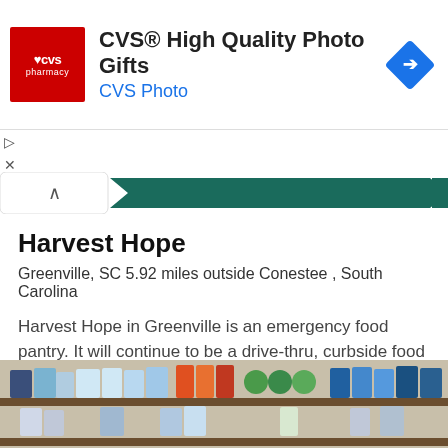[Figure (other): CVS Pharmacy advertisement banner with red logo, headline 'CVS® High Quality Photo Gifts', subtext 'CVS Photo', and blue diamond direction icon]
[Figure (other): Dark teal decorative ribbon/banner bar with caret/chevron navigation control on left]
Harvest Hope
Greenville, SC 5.92 miles outside Conestee , South Carolina
Harvest Hope in Greenville is an emergency food pantry. It will continue to be a drive-thru, curbside food pick-up service until further notice. Once you arrive at the location, please check in wit [...]
Added Jun 17, 2021   Last Updated Ago
[Figure (photo): Photo of food pantry shelves stocked with packaged food items and household products]